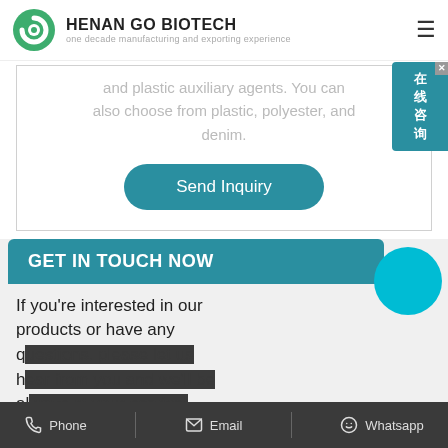HENAN GO BIOTECH — one decade manufacturing and exporting experience
and plastic auxiliary agents. You can also choose from plastic, polyester, and denim.
Send Inquiry
GET IN TOUCH NOW
If you're interested in our products or have any questions, please let us know, we will always at your service!
Phone   Email   Whatsapp